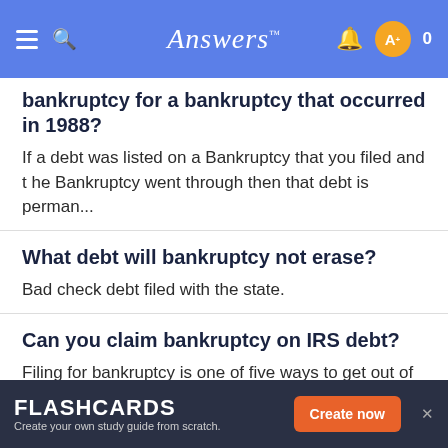Answers
bankruptcy for a bankruptcy that occurred in 1988?
If a debt was listed on a Bankruptcy that you filed and the Bankruptcy went through then that debt is perman...
What debt will bankruptcy not erase?
Bad check debt filed with the state.
Can you claim bankruptcy on IRS debt?
Filing for bankruptcy is one of five ways to get out of tax debt, but you should consider bankruptcy only if you...
See more
FLASHCARDS Create your own study guide from scratch. Create now